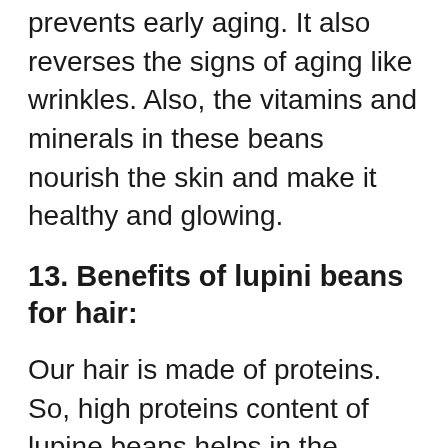prevents early aging. It also reverses the signs of aging like wrinkles. Also, the vitamins and minerals in these beans nourish the skin and make it healthy and glowing.
13. Benefits of lupini beans for hair:
Our hair is made of proteins. So, high proteins content of lupine beans helps in the formation of healthy hair structure. The high protein content of these beans also makes the hair strong, thick and difficult to break or fall down.
Our hair also needs an adequate amount of vitamins and minerals for healthy growth. Lupini beans have all the required nutrients to promote healthy hair growth. They nourish the hair very